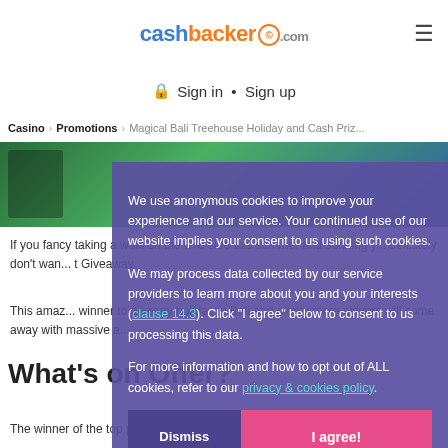cashbacker.com
Sign in • Sign up
Casino > Promotions > Magical Bali Treehouse Holiday and Cash Priz...
If you fancy taking a walk on the wild side this summer and sunning y... definitely don't wan... t Giveaway.
This amaz... winner to a luxury holiday in Bali and plenty more players will come away with massive a...
What's on Offer?
The winner of the top prize in the Jungle Spirit Giveaway will
We use anonymous cookies to improve your experience and our service. Your continued use of our website implies your consent to us using such cookies.
We may process data collected by our service providers to learn more about you and your interests (clause 14.3). Click "I agree" below to consent to us processing this data.
For more information and how to opt out of ALL cookies, refer to our privacy & cookies policy.
Dismiss
I agree!